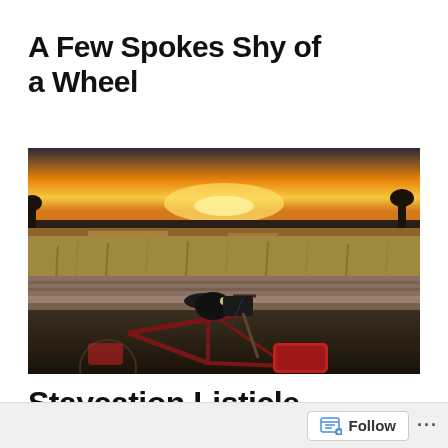A Few Spokes Shy of a Wheel
[Figure (photo): A bicycle leaning against a wooden railing with a wetland marsh and golden sunset sky in the background. The bicycle has a black saddle and red bags/panniers.]
Staycation Listicle
Follow ...